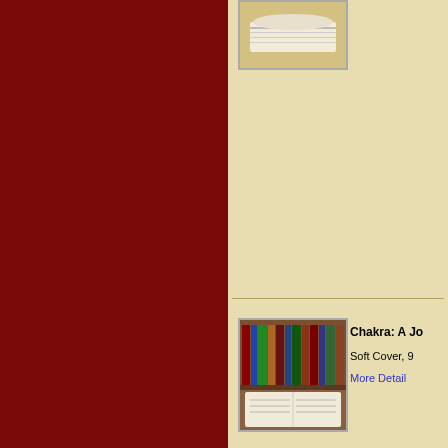[Figure (photo): Partial view of open books, cropped at top of page]
[Figure (photo): Bookshelf with many books and an open book in foreground - thumbnail for Chakra: A Jo...]
Chakra: A Jo...
Soft Cover, 9...
More Detail
[Figure (photo): Book cover: The Arab's Impact on European Civilisation]
The Arab's I...
Abbas Mahm...
Soft Cover, 1...